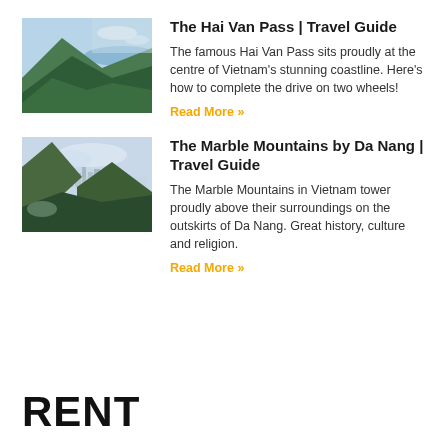[Figure (photo): Aerial view of Hai Van Pass with green mountains and coastline]
The Hai Van Pass | Travel Guide
The famous Hai Van Pass sits proudly at the centre of Vietnam's stunning coastline. Here's how to complete the drive on two wheels!
Read More »
[Figure (photo): View from Marble Mountains looking over Da Nang city with green hills]
The Marble Mountains by Da Nang | Travel Guide
The Marble Mountains in Vietnam tower proudly above their surroundings on the outskirts of Da Nang. Great history, culture and religion.
Read More »
RENT